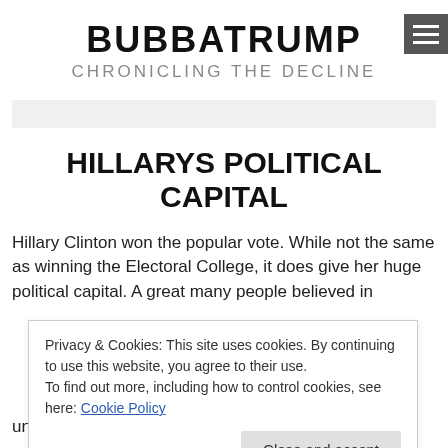BUBBATRUMP
CHRONICLING THE DECLINE
HILLARYS POLITICAL CAPITAL
Hillary Clinton won the popular vote. While not the same as winning the Electoral College, it does give her huge political capital. A great many people believed in
Privacy & Cookies: This site uses cookies. By continuing to use this website, you agree to their use.
To find out more, including how to control cookies, see here: Cookie Policy
Close and accept
unsure of Donald Trumps strategies, they have